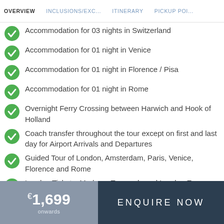OVERVIEW  |  INCLUSIONS/EXC...  |  ITINERARY  |  PICKUP POI...
Accommodation for 03 nights in Switzerland
Accommodation for 01 night in Venice
Accommodation for 01 night in Florence / Pisa
Accommodation for 01 night in Rome
Overnight Ferry Crossing between Harwich and Hook of Holland
Coach transfer throughout the tour except on first and last day for Airport Arrivals and Departures
Guided Tour of London, Amsterdam, Paris, Venice, Florence and Rome
London Tickets: Madame Tussauds and London Eye
€1,699 onwards
ENQUIRE NOW